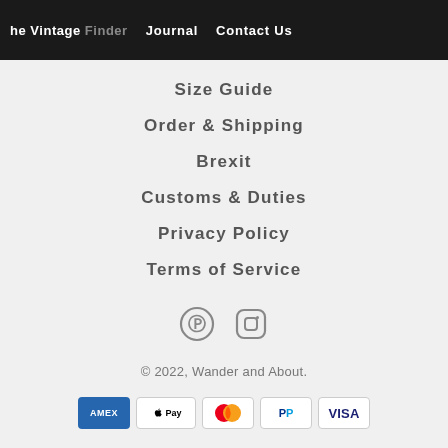The Vintage Finder   Journal   Contact Us
Size Guide
Order & Shipping
Brexit
Customs & Duties
Privacy Policy
Terms of Service
[Figure (other): Pinterest and Instagram social media icons]
© 2022, Wander and About.
[Figure (other): Payment method icons: AMEX, Apple Pay, Mastercard, PayPal, Visa]